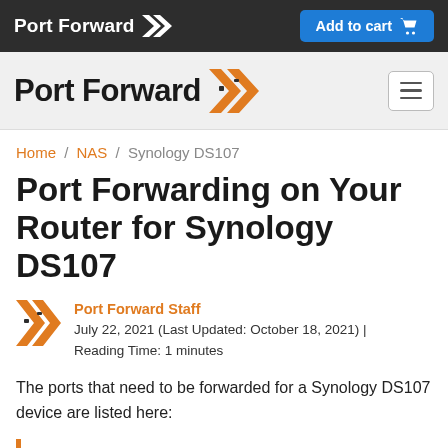Port Forward | Add to cart
[Figure (logo): Port Forward logo with orange double chevron in top navigation bar]
Home / NAS / Synology DS107
Port Forwarding on Your Router for Synology DS107
Port Forward Staff
July 22, 2021 (Last Updated: October 18, 2021) | Reading Time: 1 minutes
The ports that need to be forwarded for a Synology DS107 device are listed here:
Synology DS107 - PC